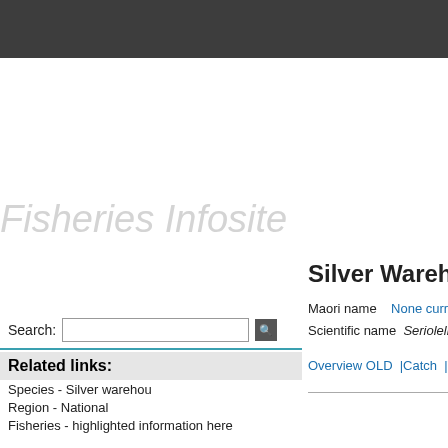[Figure (other): Fisheries Infosite watermark/logo text in light gray italic]
Search:
Related links:
Species - Silver warehou
Region - National
Fisheries - highlighted/truncated
Silver Warehou N
Maori name   None currently
Scientific name   Seriolella punc
Overview OLD  |Catch  |Value  |S